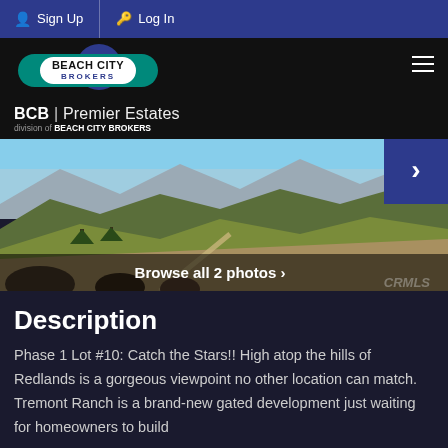Sign Up | Log In
[Figure (logo): Beach City Brokers logo with BCB Premier Estates branding]
[Figure (photo): Aerial landscape photo of hills in Redlands with mountains in background and a road winding through. Caption: Browse all 2 photos. Watermark: CRMLS]
Description
Phase 1 Lot #10: Catch the Stars!! High atop the hills of Redlands is a gorgeous viewpoint no other location can match. Tremont Ranch is a brand-new gated development just waiting for homeowners to build